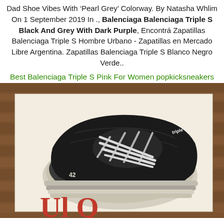Dad Shoe Vibes With 'Pearl Grey' Colorway. By Natasha Whlim On 1 September 2019 In ., Balenciaga Balenciaga Triple S Black And Grey With Dark Purple, Encontrá Zapatillas Balenciaga Triple S Hombre Urbano - Zapatillas en Mercado Libre Argentina. Zapatillas Balenciaga Triple S Blanco Negro Verde..
Best Balenciaga Triple S Pink For Women popkicksneakers
[Figure (photo): Top-down view of a black Balenciaga Triple S sneaker (size 42) with white laces and chunky white sole, placed on a white paper/card on a wooden floor background. Red text partially visible at bottom.]